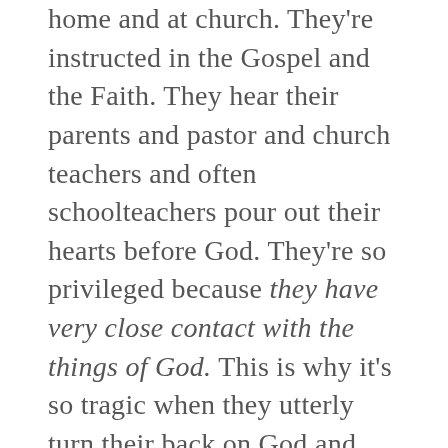home and at church. They're instructed in the Gospel and the Faith. They hear their parents and pastor and church teachers and often schoolteachers pour out their hearts before God. They're so privileged because they have very close contact with the things of God. This is why it's so tragic when they utterly turn their back on God and depart from the Faith. They have so many privileges. It's an act of almost unforgivable ingratitude when they throw these precious Christian